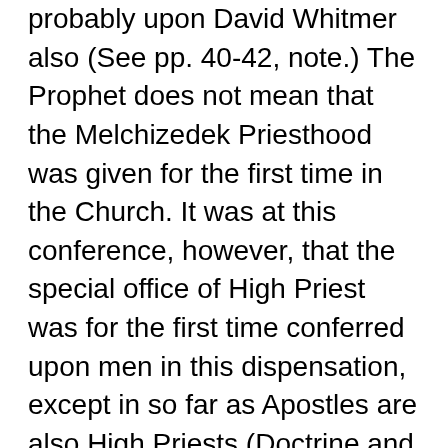probably upon David Whitmer also (See pp. 40-42, note.) The Prophet does not mean that the Melchizedek Priesthood was given for the first time in the Church. It was at this conference, however, that the special office of High Priest was for the first time conferred upon men in this dispensation, except in so far as Apostles are also High Priests (Doctrine and Covenants, sec. 84:63); and of course as there were men who had been ordained to the apostleship before this conference of June, 1831, in that manner there had been High